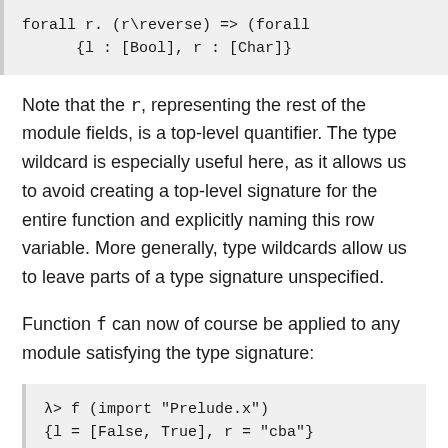Note that the r, representing the rest of the module fields, is a top-level quantifier. The type wildcard is especially useful here, as it allows us to avoid creating a top-level signature for the entire function and explicitly naming this row variable. More generally, type wildcards allow us to leave parts of a type signature unspecified.
Function f can now of course be applied to any module satisfying the type signature:
Diff...